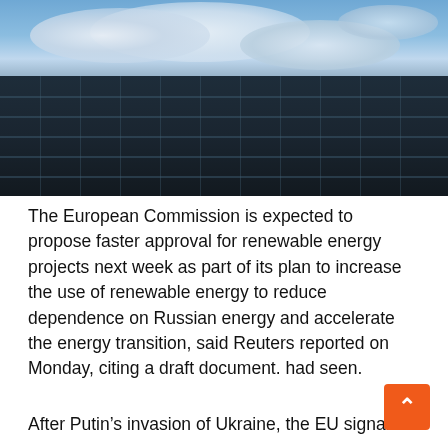[Figure (photo): Aerial view of a large solar panel farm under a partly cloudy blue sky with dark storm clouds on the horizon.]
The European Commission is expected to propose faster approval for renewable energy projects next week as part of its plan to increase the use of renewable energy to reduce dependence on Russian energy and accelerate the energy transition, said Reuters reported on Monday, citing a draft document. had seen.
After Putin’s invasion of Ukraine, the EU signaled